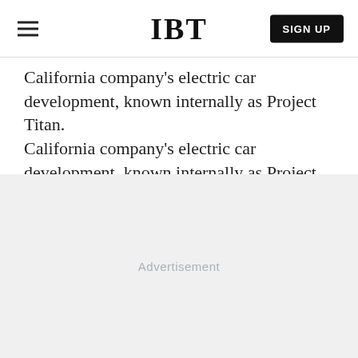IBT
California company's electric car development, known internally as Project Titan.
[Figure (other): Advertisement placeholder area with light gray background]